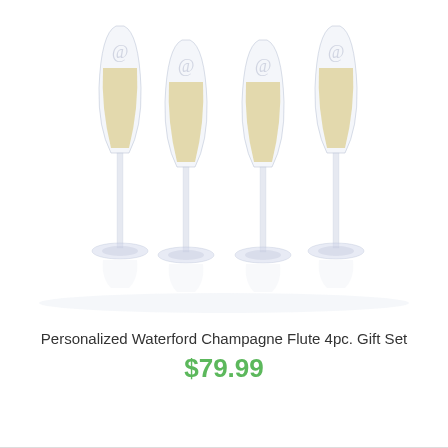[Figure (photo): Four crystal champagne flutes filled with golden champagne, each engraved with a decorative initial monogram, arranged in a row against a white background.]
Personalized Waterford Champagne Flute 4pc. Gift Set
$79.99